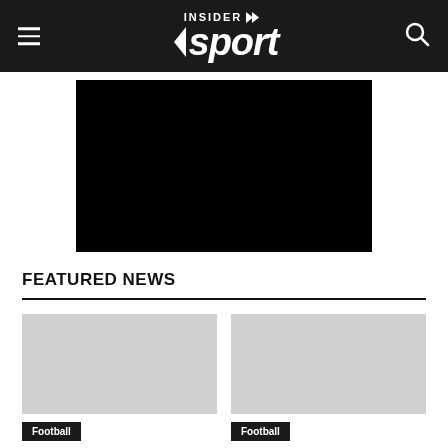INSIDER sport
[Figure (photo): Black rectangle image placeholder]
FEATURED NEWS
[Figure (photo): Football news image placeholder - left card]
Football — Bundlesliga given the green-light for May resumption
[Figure (photo): Football news image placeholder - right card]
Football — Player sales help Chelsea report record yearly revenue